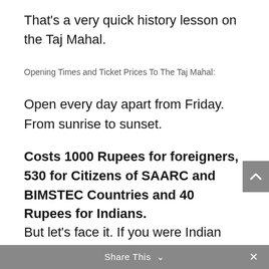That’s a very quick history lesson on the Taj Mahal.
Opening Times and Ticket Prices To The Taj Mahal:
Open every day apart from Friday. From sunrise to sunset.
Costs 1000 Rupees for foreigners, 530 for Citizens of SAARC and BIMSTEC Countries and 40 Rupees for Indians.
But let’s face it. If you were Indian you
Share This ∨  ×